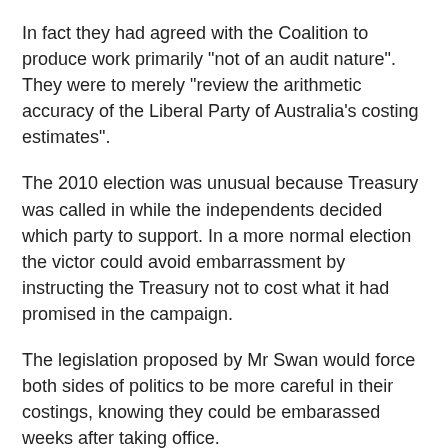In fact they had agreed with the Coalition to produce work primarily "not of an audit nature". They were to merely "review the arithmetic accuracy of the Liberal Party of Australia's costing estimates".
The 2010 election was unusual because Treasury was called in while the independents decided which party to support. In a more normal election the victor could avoid embarrassment by instructing the Treasury not to cost what it had promised in the campaign.
The legislation proposed by Mr Swan would force both sides of politics to be more careful in their costings, knowing they could be embarassed weeks after taking office.
Related Posts
. Coalition costings: The inexcusable, the inexplicable...
. Costings aftermath: Joe Hockey is to truth as....